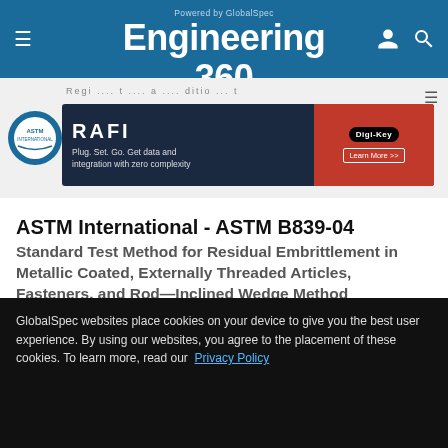Powered by GlobalSpec Engineering 360
[Figure (screenshot): Engineering 360 website header with blue background, hamburger menu icon on left, 'Powered by GlobalSpec' text above 'Engineering 360' logo in white, user and search icons on right]
[Figure (screenshot): Advertisement banner for RAFI showing 'Plug. Set. Go. Get data and integration with zero complexity' with Digi-Key branding and Learn More button]
ASTM International - ASTM B839-04
Standard Test Method for Residual Embrittlement in Metallic Coated, Externally Threaded Articles, Fasteners, and Rod—Inclined Wedge Method
Inactive
BUY NOW
GlobalSpec websites place cookies on your device to give you the best user experience. By using our websites, you agree to the placement of these cookies. To learn more, read our Privacy Policy